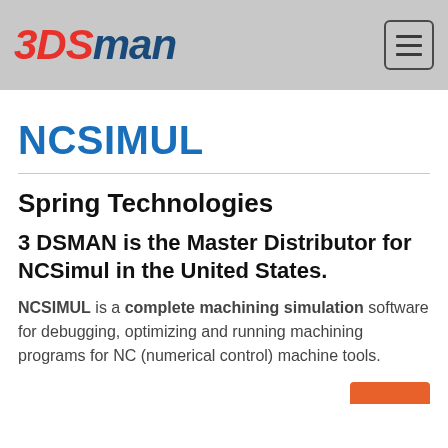3DSMAN logo and navigation menu
NCSIMUL
Spring Technologies
3 DSMAN is the Master Distributor for NCSimul in the United States.
NCSIMUL is a complete machining simulation software for debugging, optimizing and running machining programs for NC (numerical control) machine tools.